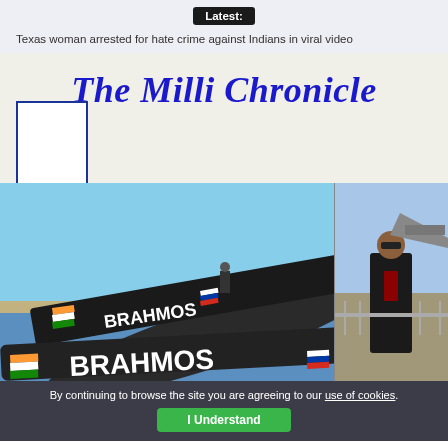Latest:
Texas woman arrested for hate crime against Indians in viral video
The Milli Chronicle
[Figure (photo): Two-panel composite image: left panel shows BrahMos supersonic cruise missile on display with Indian and Russian flags, a person standing in background near waterfront; right panel shows a man in black suit with sunglasses standing near military aircraft on tarmac]
By continuing to browse the site you are agreeing to our use of cookies.
I Understand